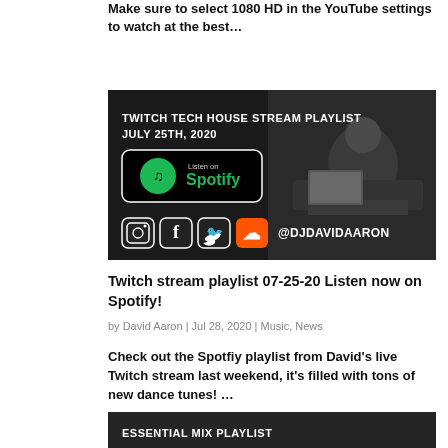Make sure to select 1080 HD in the YouTube settings to watch at the best...
[Figure (photo): Black and white banner image: TWITCH TECH HOUSE STREAM PLAYLIST JULY 25TH, 2020 with Listen on Spotify button, social media icons (Instagram, Facebook, Twitter, SoundCloud) and @DJDAVIDAARON, with a DJ working at a console in the background]
Twitch stream playlist 07-25-20 Listen now on Spotify!
by David Aaron | Jul 28, 2020 | Music, News
Check out the Spotfiy playlist from David's live Twitch stream last weekend, it's filled with tons of new dance tunes! ...
[Figure (photo): Partial black and white banner: ESSENTIAL MIX PLAYLIST MAY 8TH, 2020 (partially visible at bottom)]